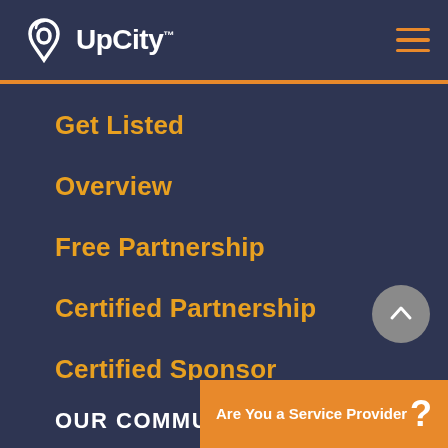UpCity™
Get Listed
Overview
Free Partnership
Certified Partnership
Certified Sponsor
Free SEO Report Card
OUR COMMU
Are You a Service Provider ?